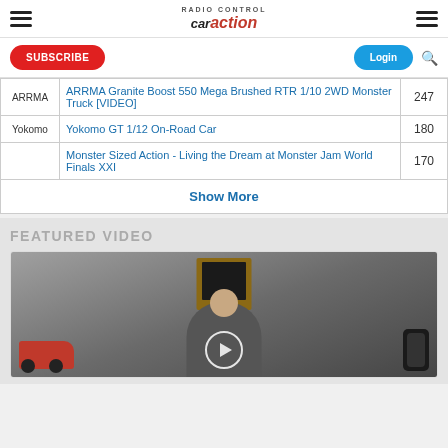Radio Control Car Action
| Brand | Title | Count |
| --- | --- | --- |
| ARRMA | ARRMA Granite Boost 550 Mega Brushed RTR 1/10 2WD Monster Truck [VIDEO] | 247 |
| Yokomo | Yokomo GT 1/12 On-Road Car | 180 |
|  | Monster Sized Action - Living the Dream at Monster Jam World Finals XXI | 170 |
Show More
FEATURED VIDEO
[Figure (screenshot): Video thumbnail showing a man in a gray t-shirt with RC cars, with a wood-paneled background. A play button overlay is visible.]